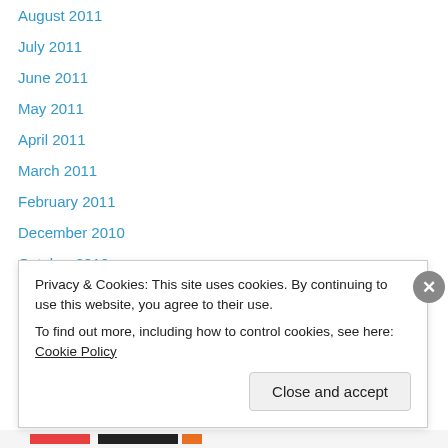August 2011
July 2011
June 2011
May 2011
April 2011
March 2011
February 2011
December 2010
October 2010
September 2010
August 2010
July 2010
June 2010
May 2010
Privacy & Cookies: This site uses cookies. By continuing to use this website, you agree to their use. To find out more, including how to control cookies, see here: Cookie Policy
Close and accept